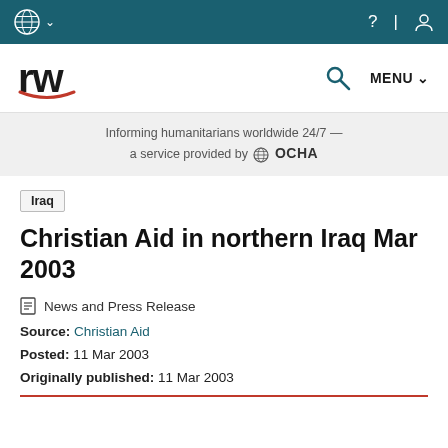ReliefWeb navigation bar with UN logo and menu icons
[Figure (logo): ReliefWeb 'rw' logo with red arc underline]
Informing humanitarians worldwide 24/7 — a service provided by OCHA
Iraq
Christian Aid in northern Iraq Mar 2003
News and Press Release
Source: Christian Aid
Posted: 11 Mar 2003
Originally published: 11 Mar 2003